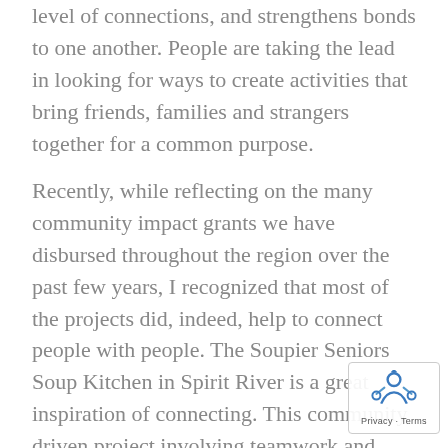level of connections, and strengthens bonds to one another. People are taking the lead in looking for ways to create activities that bring friends, families and strangers together for a common purpose.
Recently, while reflecting on the many community impact grants we have disbursed throughout the region over the past few years, I recognized that most of the projects did, indeed, help to connect people with people. The Soupier Seniors Soup Kitchen in Spirit River is a great inspiration of connecting. This community driven project involving teamwork and community building to help support those in need. Volunteers aged 65-95 gather to work together to create healthy meals to distribute to those in need in the Spirit River Area. In addition